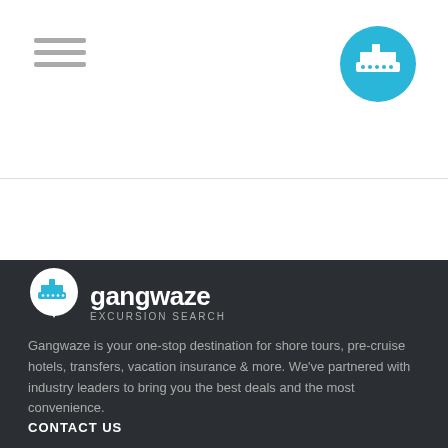[Figure (logo): Gangwaze cruise ship logo in a blue circle with map pin shape, top right of header]
How long is the MV Britannia?
[Figure (logo): Gangwaze excursion search logo in footer - white circle with cruise ship icon and map pin, with text 'gangwaze EXCURSION SEARCH']
Gangwaze is your one-stop destination for shore tours, pre-cruise hotels, transfers, vacation insurance & more. We've partnered with industry leaders to bring you the best deals and the most convenience.
CONTACT US